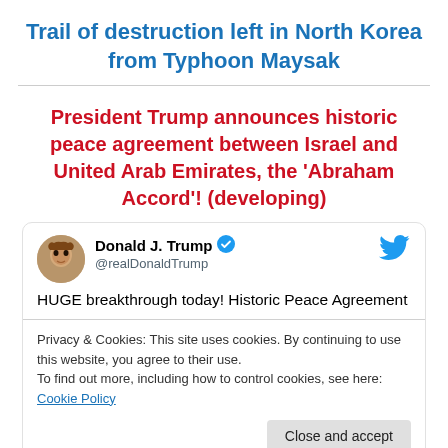Trail of destruction left in North Korea from Typhoon Maysak
President Trump announces historic peace agreement between Israel and United Arab Emirates, the 'Abraham Accord'! (developing)
[Figure (screenshot): Embedded tweet from Donald J. Trump (@realDonaldTump) with Twitter bird icon, avatar photo, verified badge, and tweet text 'HUGE breakthrough today! Historic Peace Agreement', overlaid with a cookie consent notice reading 'Privacy & Cookies: This site uses cookies. By continuing to use this website, you agree to their use. To find out more, including how to control cookies, see here: Cookie Policy' and a 'Close and accept' button.]